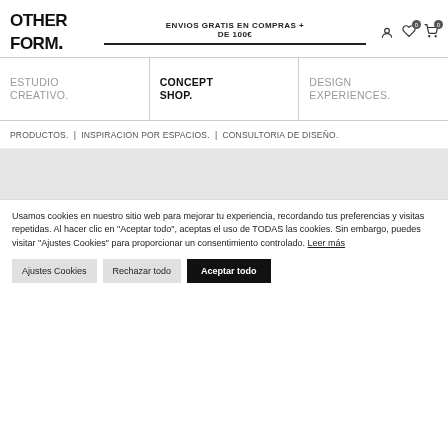OTHER FORM.
ENVIOS GRATIS EN COMPRAS + DE 100€
ESTUDIO CREATIVO.
CONCEPT SHOP.
DESIGN EXPERIENCES.
PRODUCTOS.  |  INSPIRACION POR ESPACIOS.  |  CONSULTORIA DE DISEÑO.
Usamos cookies en nuestro sitio web para mejorar tu experiencia, recordando tus preferencias y visitas repetidas. Al hacer clic en "Aceptar todo", aceptas el uso de TODAS las cookies. Sin embargo, puedes visitar "Ajustes Cookies" para proporcionar un consentimiento controlado. Leer más
Ajustes Cookies
Rechazar todo
Aceptar todo